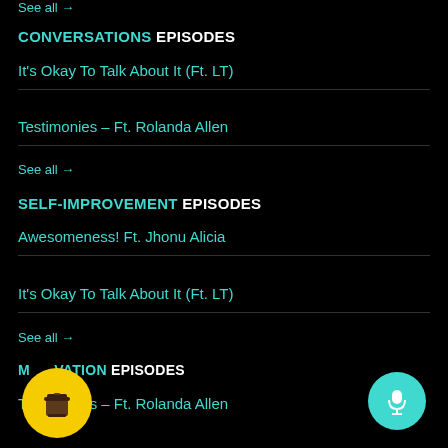See all →
CONVERSATIONS EPISODES
It's Okay To Talk About It (Ft. LT)
Testimonies – Ft. Rolanda Allen
See all →
SELF-IMPROVEMENT EPISODES
Awesomeness! Ft. Jhonu Alicia
It's Okay To Talk About It (Ft. LT)
See all →
MOTIVATION EPISODES
Testimonies – Ft. Rolanda Allen
[Figure (illustration): Yellow circular coffee cup button (Buy Me a Coffee widget)]
[Figure (illustration): Teal circular microphone button]